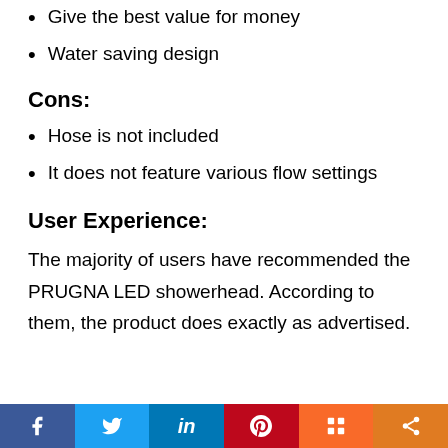Give the best value for money
Water saving design
Cons:
Hose is not included
It does not feature various flow settings
User Experience:
The majority of users have recommended the PRUGNA LED showerhead. According to them, the product does exactly as advertised.